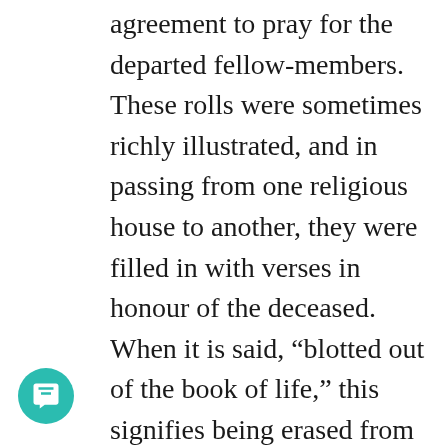agreement to pray for the departed fellow-members. These rolls were sometimes richly illustrated, and in passing from one religious house to another, they were filled in with verses in honour of the deceased. When it is said, “blotted out of the book of life,” this signifies being erased from the list of God’s friends and servants; as those who are guilty of treachery are struck off the roll of officers belonging to a prince. Also, based on my research of these rolls over time, they have changed hands, been destroyed, and/or forged based on whose sword had conquered the previous possessors of these said books.